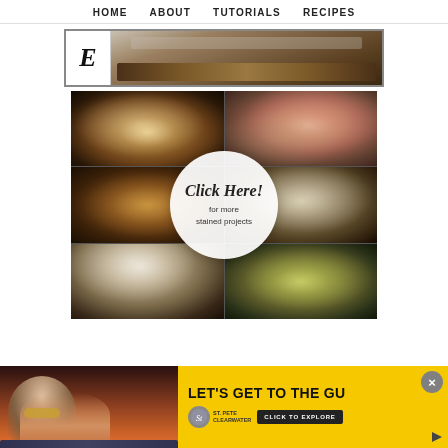HOME   ABOUT   TUTORIALS   RECIPES
[Figure (photo): Top area with Etsy-style 'E' logo on the left and a photo of a wooden surface/table on the right, shown in a bordered frame.]
[Figure (photo): 3x2 collage of stained wood art projects featuring floral designs (succulents, roses, abstract flowers) with a circular overlay reading 'Click Here! for more stained projects']
[Figure (photo): Advertisement banner: left side shows woman in sunglasses at sunset poolside; right side is yellow with text 'LET'S GET TO THE GU...' and St. Pete Clearwater logo and 'CLICK TO EXPLORE' button.]